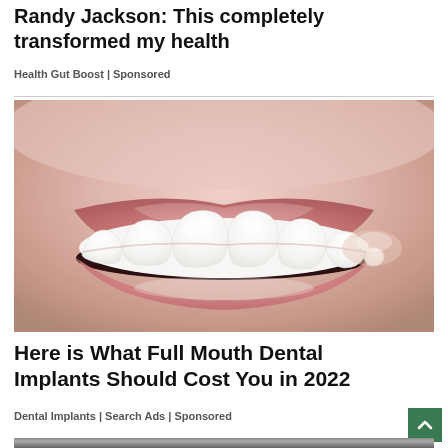Randy Jackson: This completely transformed my health
Health Gut Boost | Sponsored
[Figure (photo): Close-up photo of a person's smile showing bright white teeth with glossy lips, dental implant advertisement image]
Here is What Full Mouth Dental Implants Should Cost You in 2022
Dental Implants | Search Ads | Sponsored